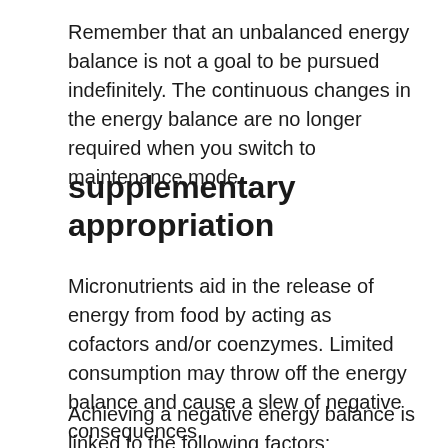Remember that an unbalanced energy balance is not a goal to be pursued indefinitely. The continuous changes in the energy balance are no longer required when you switch to maintenance mode.
supplementary appropriation
Micronutrients aid in the release of energy from food by acting as cofactors and/or coenzymes. Limited consumption may throw off the energy balance and cause a slew of negative consequences.
Achieving a negative energy balance is linked to the following factors: